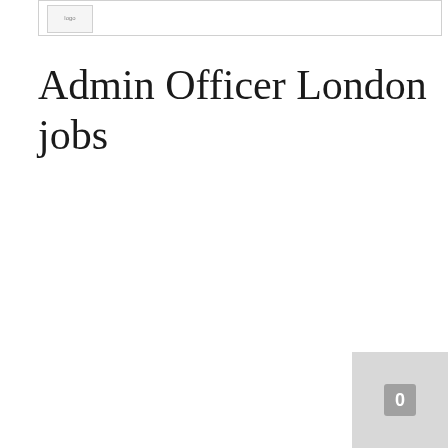[Figure (logo): Small logo or icon box in the top-left of a card element, showing small text or icon]
Admin Officer London jobs
[Figure (other): Gray button or navigation element in bottom-right corner with a square icon]